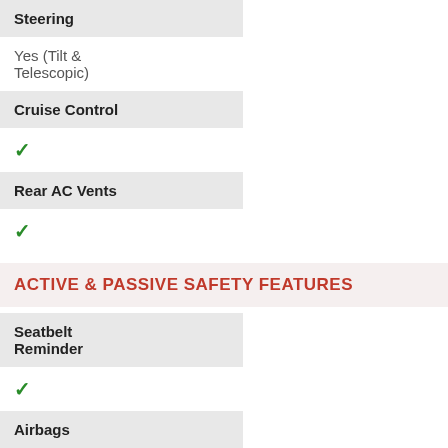| Feature | Value |
| --- | --- |
| Steering | Yes (Tilt & Telescopic) |
| Cruise Control | ✓ |
| Rear AC Vents | ✓ |
ACTIVE & PASSIVE SAFETY FEATURES
| Feature | Value |
| --- | --- |
| Seatbelt Reminder | ✓ |
| Airbags | 8 |
| Parking Sensors | Yes (with Camera) |